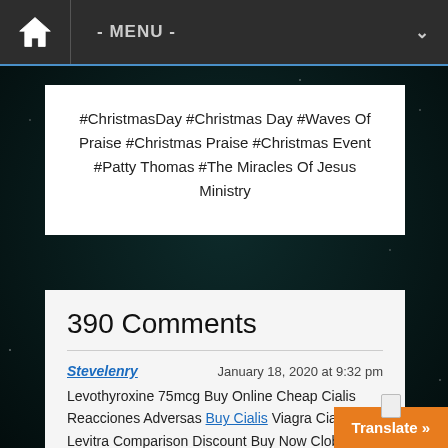- MENU -
#ChristmasDay #Christmas Day #Waves Of Praise #Christmas Praise #Christmas Event #Patty Thomas #The Miracles Of Jesus Ministry
390 Comments
Stevelenry — January 18, 2020 at 9:32 pm
Levothyroxine 75mcg Buy Online Cheap Cialis Reacciones Adversas Buy Cialis Viagra Cialis Levitra Comparison Discount Buy Now Clobetasol Amoxicillin Clavula
opinith — April 22